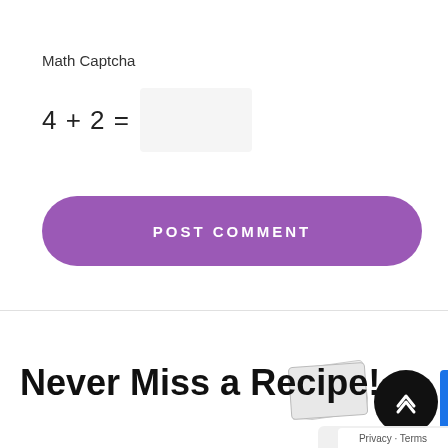Math Captcha
POST COMMENT
Never Miss a Recipe!
Privacy · Terms